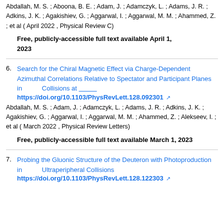Abdallah, M. S. ; Aboona, B. E. ; Adam, J. ; Adamczyk, L. ; Adams, J. R. ; Adkins, J. K. ; Agakishiev, G. ; Aggarwal, I. ; Aggarwal, M. M. ; Ahammed, Z. ; et al ( April 2022 , Physical Review C)
Free, publicly-accessible full text available April 1, 2023
6. Search for the Chiral Magnetic Effect via Charge-Dependent Azimuthal Correlations Relative to Spectator and Participant Planes in Collisions at https://doi.org/10.1103/PhysRevLett.128.092301
Abdallah, M. S. ; Adam, J. ; Adamczyk, L. ; Adams, J. R. ; Adkins, J. K. ; Agakishiev, G. ; Aggarwal, I. ; Aggarwal, M. M. ; Ahammed, Z. ; Alekseev, I. ; et al ( March 2022 , Physical Review Letters)
Free, publicly-accessible full text available March 1, 2023
7. Probing the Gluonic Structure of the Deuteron with Photoproduction in Ultraperipheral Collisions https://doi.org/10.1103/PhysRevLett.128.122303